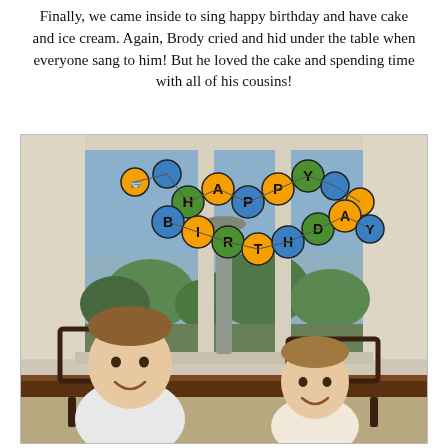Finally, we came inside to sing happy birthday and have cake and ice cream. Again, Brody cried and hid under the table when everyone sang to him! But he loved the cake and spending time with all of his cousins!
[Figure (photo): Two young boys sitting at a table indoors, smiling at the camera. A colorful 'HAPPY BIRTHDAY' banner with circular letter discs decorated with vehicles hangs in the background near a large window overlooking a green outdoor area with trees.]